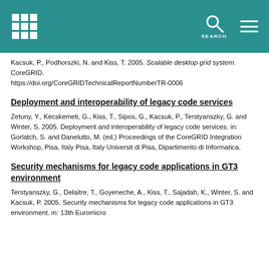SEARCH
Kacsuk, P., Podhorszki, N. and Kiss, T. 2005. Scalable desktop grid system. CoreGRID. https://doi.org/CoreGRIDTechnicalReportNumberTR-0006
Deployment and interoperability of legacy code services
Zetuny, Y., Kecskemeti, G., Kiss, T., Sipos, G., Kacsuk, P., Terstyanszky, G. and Winter, S. 2005. Deployment and interoperability of legacy code services. in: Gorlatch, S. and Danelutto, M. (ed.) Proceedings of the CoreGRID Integration Workshop, Pisa, Italy Pisa, Italy Universit di Pisa, Dipartimento di Informatica.
Security mechanisms for legacy code applications in GT3 environment
Terstyanszky, G., Delaitre, T., Goyeneche, A., Kiss, T., Sajadah, K., Winter, S. and Kacsuk, P. 2005. Security mechanisms for legacy code applications in GT3 environment. in: 13th Euromicro